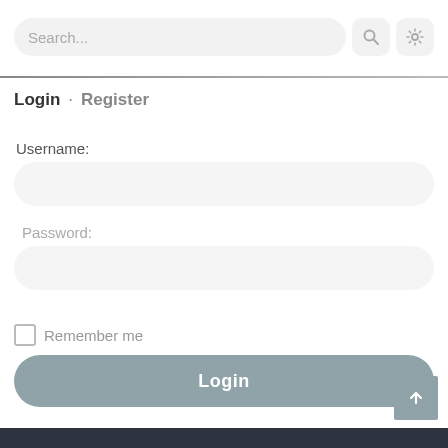[Figure (screenshot): Search bar with magnifier icon and settings gear icon, rounded pill shape on light grey background]
Login · Register
Username:
[Figure (other): Empty rounded rectangle input field for username]
Password:
[Figure (other): Empty rounded rectangle input field for password]
Remember me
Login
[Figure (other): Scroll-to-top button with upward arrow icon, grey square, bottom-right corner]